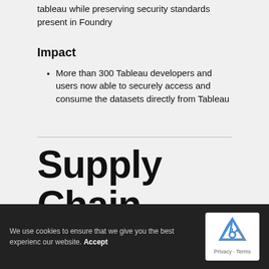tableau while preserving security standards present in Foundry
Impact
More than 300 Tableau developers and users now able to securely access and consume the datasets directly from Tableau
Supply Chain Control Tower